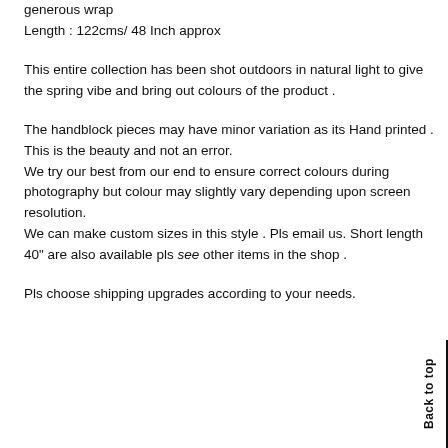generous wrap
Length : 122cms/ 48 Inch approx
This entire collection has been shot outdoors in natural light to give the spring vibe and bring out colours of the product .
The handblock pieces may have minor variation as its Hand printed . This is the beauty and not an error.
We try our best from our end to ensure correct colours during photography but colour may slightly vary depending upon screen resolution.
We can make custom sizes in this style . Pls email us. Short length 40" are also available pls see other items in the shop .
Pls choose shipping upgrades according to your needs.
Back to top